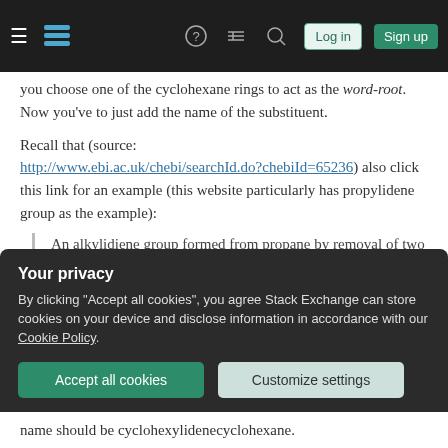Stack Exchange navigation bar with hamburger menu, logo, help, search, log in, sign up
you choose one of the cyclohexane rings to act as the word-root. Now you've to just add the name of the substituent.
Recall that (source: http://www.ebi.ac.uk/chebi/searchId.do?chebiId=65236) also click this link for an example (this website particularly has propylidene group as the example):
An alkylidiene group formed from propane by removal of two hydrogen atoms from the same
Your privacy
By clicking "Accept all cookies", you agree Stack Exchange can store cookies on your device and disclose information in accordance with our Cookie Policy.
name should be cyclohexylidenecyclohexane.